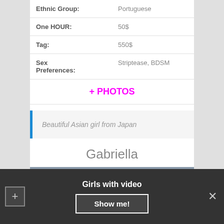| Ethnic Group: | Portuguese |
| One HOUR: | 50$ |
| Tag: | 550$ |
| Sex Preferences: | Striptease, BDSM |
+ PHOTOS
Beautiful Asian girl from Japan
Gabriella
[Figure (photo): Partial photo of a person, cropped at bottom of visible area]
Girls with video
Show me!